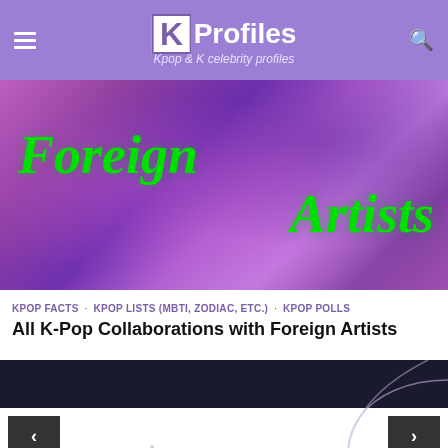KProfiles — Kpop & K celebrity profiles
[Figure (illustration): Colorful purple/pink abstract background banner with italic green text reading 'Foreign Artists']
KPOP FACTS · KPOP LISTS (MBTI, ZODIAC, ETC.) · KPOP POLLS
All K-Pop Collaborations with Foreign Artists
[Figure (photo): Dark navy background with thin looping curved line illustration and text 'LY 轉' in light purple/lavender — BTS Love Yourself 轉 'Tear' album artwork style]